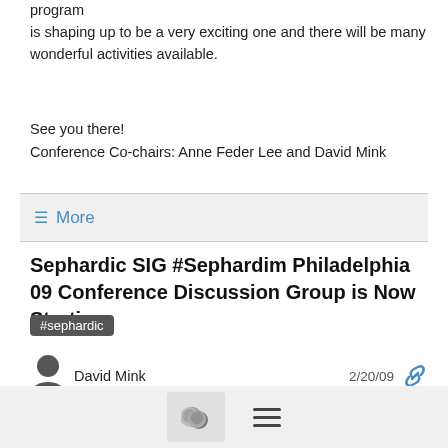program is shaping up to be a very exciting one and there will be many wonderful activities available.
See you there!
Conference Co-chairs: Anne Feder Lee and David Mink
≡ More
Sephardic SIG #Sephardim Philadelphia 09 Conference Discussion Group is Now Starting
#sephardic
David Mink   2/20/09
We are very pleased to announce that the 29th IAJGS International Conference on Jewish Genealogy Discussion Group is now starting